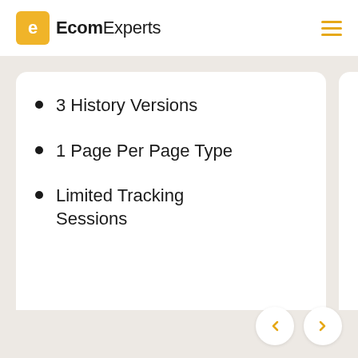EcomExperts
3 History Versions
1 Page Per Page Type
Limited Tracking Sessions
10 History...
20 Regula...
2 Page Li... Page Typ...
Limited T... Sessions